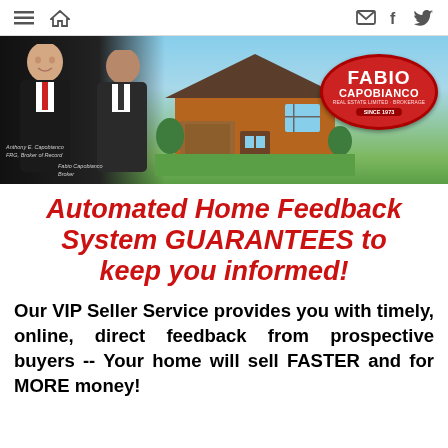Navigation bar with hamburger menu, home icon, email icon, Facebook icon, Twitter icon
[Figure (photo): Banner image showing two men (Anthony E. Capobianco - FRG Broker of Record, Fabio Capobianco - Broker) in front of a brick house with blue sky. Red oval Fabio Capobianco Real Estate Limited Brokerage Since 1973 logo on right.]
Automated Home Feedback System GUARANTEES to keep you informed!
Our VIP Seller Service provides you with timely, online, direct feedback from prospective buyers -- Your home will sell FASTER and for MORE money!